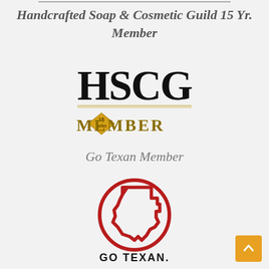Handcrafted Soap & Cosmetic Guild 15 Yr. Member
[Figure (logo): HSCG 15-year Member logo with large serif letters HSCG above a gold diamond badge with '15 YEARS' and the word MEMBER in gold]
Go Texan Member
[Figure (logo): Go Texan logo: red circle with outline of Texas state inside, and bold text GO TEXAN. below]